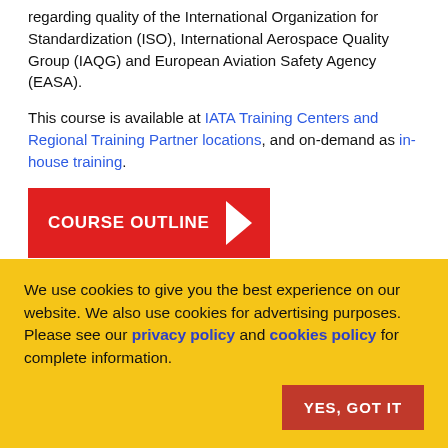regarding quality of the International Organization for Standardization (ISO), International Aerospace Quality Group (IAQG) and European Aviation Safety Agency (EASA).
This course is available at IATA Training Centers and Regional Training Partner locations, and on-demand as in-house training.
[Figure (other): Red button labeled COURSE OUTLINE with a white triangle/arrow on the right]
Course code: TCVG-22
Course format
This classroom course provides 5 days (40 hours) of instruction
We use cookies to give you the best experience on our website. We also use cookies for advertising purposes. Please see our privacy policy and cookies policy for complete information.
YES, GOT IT